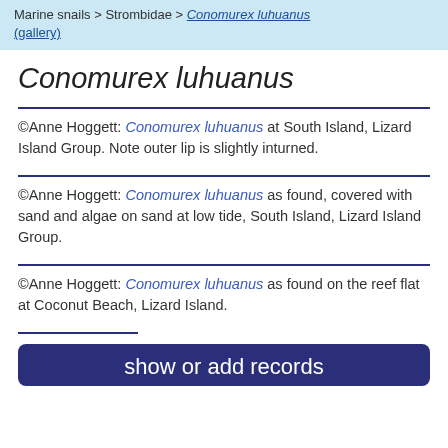Marine snails > Strombidae > Conomurex luhuanus (gallery)
Conomurex luhuanus
©Anne Hoggett: Conomurex luhuanus at South Island, Lizard Island Group. Note outer lip is slightly inturned.
©Anne Hoggett: Conomurex luhuanus as found, covered with sand and algae on sand at low tide, South Island, Lizard Island Group.
©Anne Hoggett: Conomurex luhuanus as found on the reef flat at Coconut Beach, Lizard Island.
show or add records